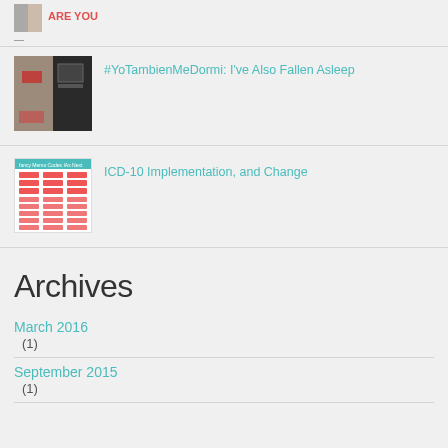[Figure (photo): Small thumbnail image partially visible at top, showing a cropped graphic with red text 'ARE YOU']
—
[Figure (photo): Two side-by-side photos: left shows a room interior with red containers, right shows a dark monitor/screen]
#YoTambienMeDormi: I've Also Fallen Asleep
[Figure (table-as-image): ICD-10 implementation chart with teal header and red data cells arranged in columns]
ICD-10 Implementation, and Change
Archives
March 2016
(1)
September 2015
(1)